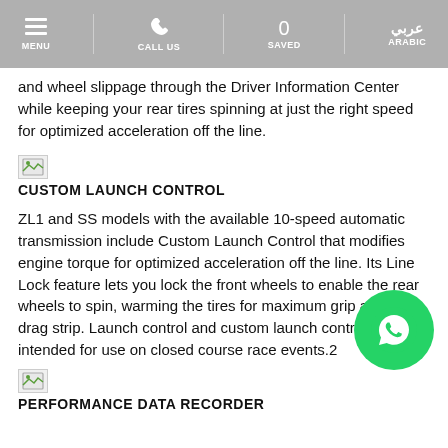MENU | CALL US | 0 SAVED | ARABIC
and wheel slippage through the Driver Information Center while keeping your rear tires spinning at just the right speed for optimized acceleration off the line.
[Figure (illustration): Broken image placeholder icon for Custom Launch Control section]
CUSTOM LAUNCH CONTROL
ZL1 and SS models with the available 10-speed automatic transmission include Custom Launch Control that modifies engine torque for optimized acceleration off the line. Its Line Lock feature lets you lock the front wheels to enable the rear wheels to spin, warming the tires for maximum grip at the drag strip. Launch control and custom launch control are intended for use on closed course race events.2
[Figure (illustration): Broken image placeholder icon for Performance Data Recorder section]
PERFORMANCE DATA RECORDER